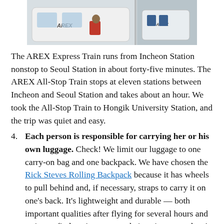[Figure (photo): Photo of AREX train interior/exterior showing the AREX logo on white train cars with passengers and luggage visible]
The AREX Express Train runs from Incheon Station nonstop to Seoul Station in about forty-five minutes. The AREX All-Stop Train stops at eleven stations between Incheon and Seoul Station and takes about an hour. We took the All-Stop Train to Hongik University Station, and the trip was quiet and easy.
Each person is responsible for carrying her or his own luggage. Check! We limit our luggage to one carry-on bag and one backpack. We have chosen the Rick Steves Rolling Backpack because it has wheels to pull behind and, if necessary, straps to carry it on one's back. It's lightweight and durable — both important qualities after flying for several hours and trying to find one's accommodations in a new place!
Find your accommodations as quickly as possible, get water and food, and begin to learn the area.